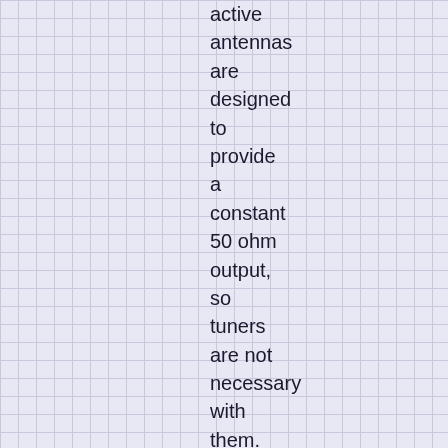active antennas are designed to provide a constant 50 ohm output, so tuners are not necessary with them. Preselectors can be of benefit with active antennas since the